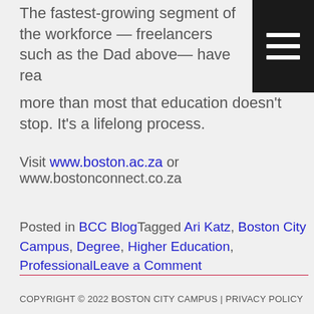The fastest-growing segment of the workforce — freelancers such as the Dad above— have realized more than most that education doesn't stop. It's a lifelong process.
Visit www.boston.ac.za or www.bostonconnect.co.za
Posted in BCC BlogTagged Ari Katz, Boston City Campus, Degree, Higher Education, ProfessionalLeave a Comment
COPYRIGHT © 2022 BOSTON CITY CAMPUS | PRIVACY POLICY